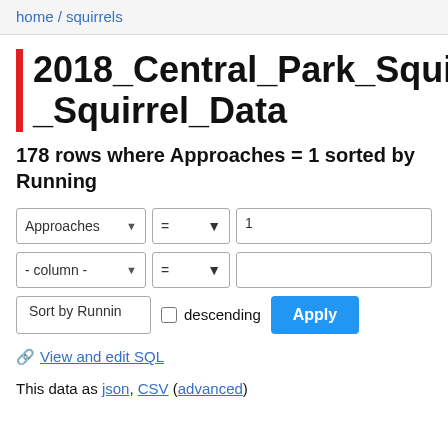home / squirrels
2018_Central_Park_Squirre_Squirrel_Data
178 rows where Approaches = 1 sorted by Running
View and edit SQL
This data as json, CSV (advanced)